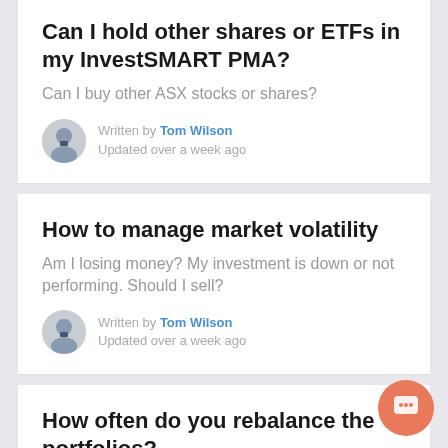Can I hold other shares or ETFs in my InvestSMART PMA?
Can I buy other ASX stocks or shares?
Written by Tom Wilson
Updated over a week ago
How to manage market volatility
Am I losing money? My investment is down or not performing. Should I sell?
Written by Tom Wilson
Updated over a week ago
How often do you rebalance the portfolios?
How frequent do we change the holdings or asset allocations inside a portfolio